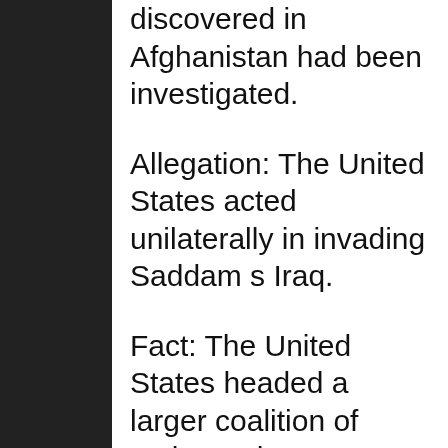discovered in Afghanistan had been investigated.
Allegation: The United States acted unilaterally in invading Saddam s Iraq.
Fact: The United States headed a larger coalition of nations when we went into Iraq in 2003 than his father put together in